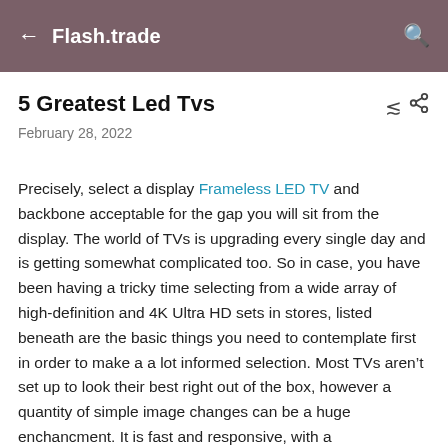Flash.trade
5 Greatest Led Tvs
February 28, 2022
Precisely, select a display Frameless LED TV and backbone acceptable for the gap you will sit from the display. The world of TVs is upgrading every single day and is getting somewhat complicated too. So in case, you have been having a tricky time selecting from a wide array of high-definition and 4K Ultra HD sets in stores, listed beneath are the basic things you need to contemplate first in order to make a a lot informed selection. Most TVs aren’t set up to look their best right out of the box, however a quantity of simple image changes can be a huge enchancment. It is fast and responsive, with a